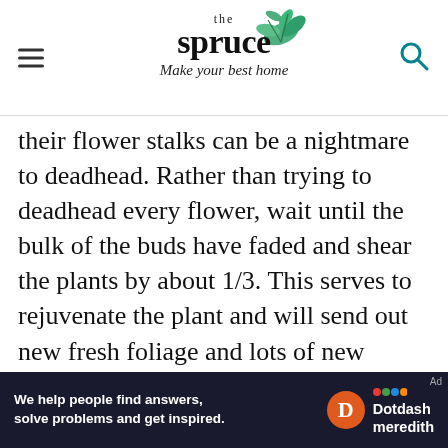the spruce — Make your best home
their flower stalks can be a nightmare to deadhead. Rather than trying to deadhead every flower, wait until the bulk of the buds have faded and shear the plants by about 1/3. This serves to rejuvenate the plant and will send out new fresh foliage and lots of new flower buds.
Newer gardeners have a hard time with this drastic approach, but give it a try. The plants recover quickly; early bloomers start to look bedraggled by mid-season anyway. In fact, if you have plants like perennial geraniums and ...
We help people find answers, solve problems and get inspired. Dotdash meredith